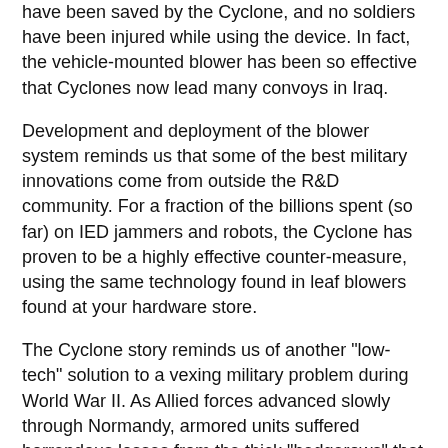have been saved by the Cyclone, and no soldiers have been injured while using the device. In fact, the vehicle-mounted blower has been so effective that Cyclones now lead many convoys in Iraq.
Development and deployment of the blower system reminds us that some of the best military innovations come from outside the R&D community. For a fraction of the billions spent (so far) on IED jammers and robots, the Cyclone has proven to be a highly effective counter-measure, using the same technology found in leaf blowers found at your hardware store.
The Cyclone story reminds us of another "low-tech" solution to a vexing military problem during World War II. As Allied forces advanced slowly through Normandy, armored units suffered horrendous losses from the thick "hedgerows" that bordered the region's many fields. Most of the hedgerows were too dense to simply punch through and rolling over the top exposed the tank's thin "belly" armor to enemy anti-tank fire.